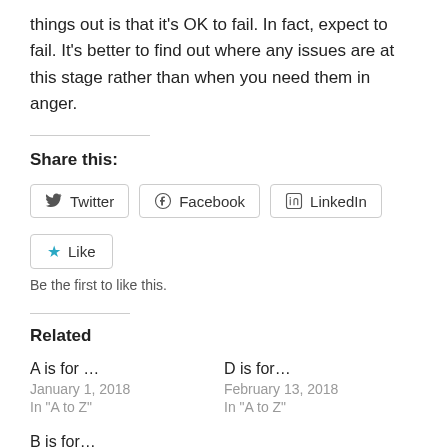things out is that it's OK to fail. In fact, expect to fail. It's better to find out where any issues are at this stage rather than when you need them in anger.
Share this:
Twitter | Facebook | LinkedIn
Like | Be the first to like this.
Related
A is for ...
January 1, 2018
In "A to Z"
D is for...
February 13, 2018
In "A to Z"
B is for...
January 16, 2018
In "A to Z"